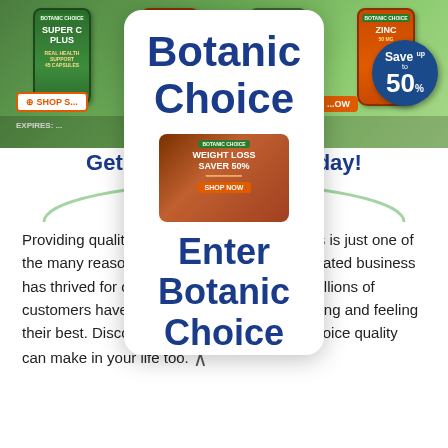[Figure (screenshot): Botanic Choice website screenshot showing product bottles (Super C Plus, Vitamin D3, Respi-Plete, Zinc), Save up to 50% badge, Shop S... Now button, Expires text, and Get Double ... nts Today! promotional banner with green arc decoration]
[Figure (screenshot): Overlaid mobile popup card showing 'Botanic Choice' in large dark blue text, with a weight loss product promotional image (WEIGHT LOSS SAVER 50%), and 'Enter Botanic Choice' text]
Providing quality pro... prices is just one of the many reasons our ...ned and operated business has thrived for over 100 years. Since 1910 millions of customers have trusted us to keep them looking and feeling their best. Discover the difference Botanic Choice quality can make in your life too. ∧